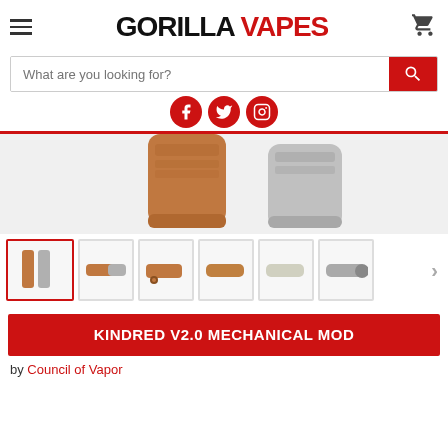GORILLA VAPES
[Figure (screenshot): Search bar with placeholder text 'What are you looking for?' and red search button]
[Figure (illustration): Social media icons: Facebook, Twitter, Instagram — red circles with white icons]
[Figure (photo): Product photo: Kindred V2.0 Mechanical Mod — copper and silver cylindrical tube mods on white background]
[Figure (photo): Thumbnail gallery of Kindred V2.0 Mechanical Mod in various angles and colors]
KINDRED V2.0 MECHANICAL MOD
by Council of Vapor